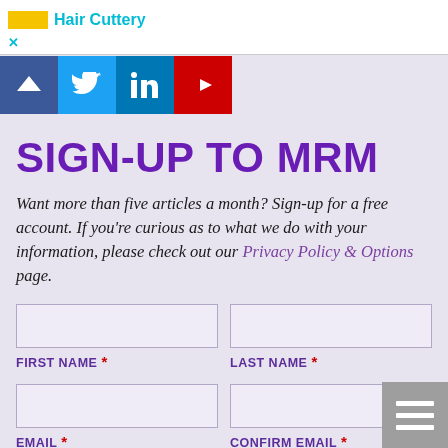[Figure (screenshot): Top advertisement banner with Hair Cuttery logo and close button (x)]
[Figure (infographic): Social media icons bar: Facebook (^/arrow), Twitter, LinkedIn, YouTube]
SIGN-UP TO MRM
Want more than five articles a month? Sign-up for a free account. If you're curious as to what we do with your information, please check out our Privacy Policy & Options page.
FIRST NAME * (form field) | LAST NAME * (form field)
EMAIL * (form field) | CONFIRM EMAIL * (form field)